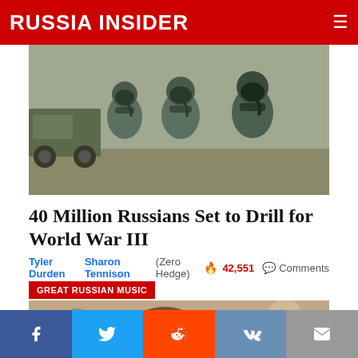RUSSIA INSIDER
[Figure (photo): Soldiers in gas masks and hazmat suits, military vehicles in background]
40 Million Russians Set to Drill for World War III
Tyler Durden   Sharon Tennison   (Zero Hedge)  🔥 42,551  💬 Comments
GREAT RUSSIAN MUSIC
[Figure (photo): Crowd of smiling young Russians, women in foreground]
Facebook  Twitter  Reddit  VK  Email